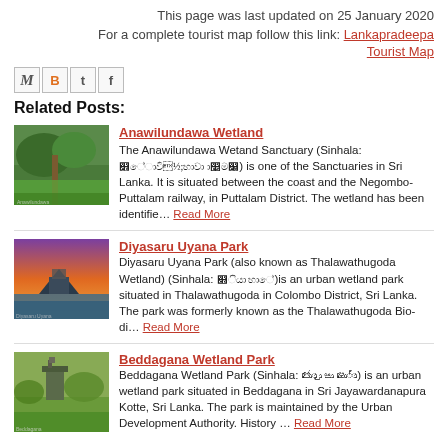This page was last updated on 25 January 2020
For a complete tourist map follow this link: Lankapradeepa Tourist Map
[Figure (other): Social media sharing icons: Gmail (M), Blogger (B), Twitter (t), Facebook (f)]
Related Posts:
[Figure (photo): Photo of Anawilundawa Wetland – lush green trees and path]
Anawilundawa Wetland
The Anawilundawa Wetand Sanctuary (Sinhala: [Sinhala text]) is one of the Sanctuaries in Sri Lanka. It is situated between the coast and the Negombo-Puttalam railway, in Puttalam District. The wetland has been identifie… Read More
[Figure (photo): Photo of Diyasaru Uyana Park – colorful sunset over wetland with shelter]
Diyasaru Uyana Park
Diyasaru Uyana Park (also known as Thalawathugoda Wetland) (Sinhala: [Sinhala text])is an urban wetland park situated in Thalawathugoda in Colombo District, Sri Lanka. The park was formerly known as the Thalawathugoda Bio-di… Read More
[Figure (photo): Photo of Beddagana Wetland Park – lookout tower and green hills]
Beddagana Wetland Park
Beddagana Wetland Park (Sinhala: [Sinhala text]) is an urban wetland park situated in Beddagana in Sri Jayawardanapura Kotte, Sri Lanka. The park is maintained by the Urban Development Authority. History … Read More